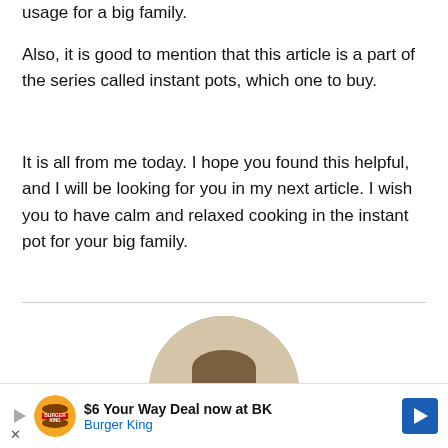usage for a big family.
Also, it is good to mention that this article is a part of the series called instant pots, which one to buy.
It is all from me today. I hope you found this helpful, and I will be looking for you in my next article. I wish you to have calm and relaxed cooking in the instant pot for your big family.
[Figure (photo): Circular author profile photo of a young man in a dark jacket]
[Figure (infographic): Advertisement banner: Burger King $6 Your Way Deal now at BK]